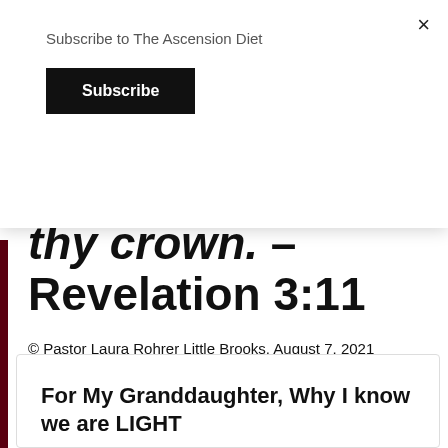Subscribe to The Ascension Diet
Subscribe
×
thy crown. – Revelation 3:11
© Pastor Laura Rohrer Little Brooks, August 7, 2021
Originally published at
https://eatingtoascend.com/2021/08/07/jesus-in-my-dream-last-night-august-7-2021/
For My Granddaughter, Why I know we are LIGHT